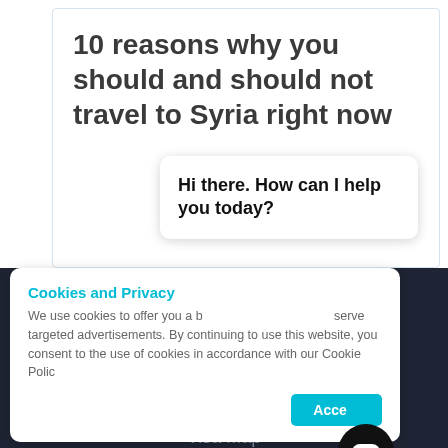10 reasons why you should and should not travel to Syria right now
Services
Visa Policy
Cookies and Privacy
We use cookies to offer you a better experience and to serve targeted advertisements. By continuing to use this website, you consent to the use of cookies in accordance with our Cookie Policy
Hi there. How can I help you today?
Accept
Visa Map